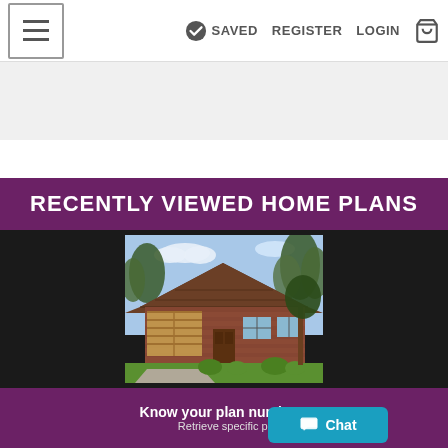≡  ✓ SAVED  REGISTER  LOGIN  🛒
RECENTLY VIEWED HOME PLANS
[Figure (photo): Exterior rendering of a single-story ranch-style brick house with a brown roof, attached garage on the left, large trees in background, green lawn in foreground.]
Know your plan number?
Retrieve specific plan by number
Chat